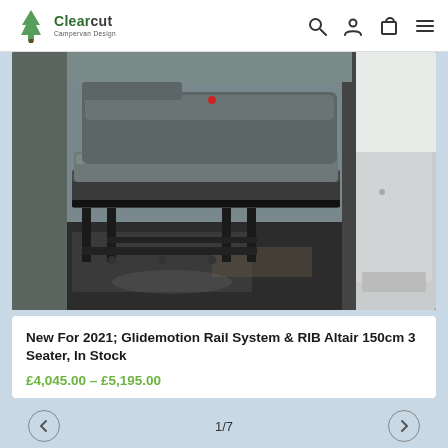Clearcut Campervan Design
[Figure (photo): Interior van photo showing a grey RIB Altair 3-seater bench seat on a Glidemotion rail system, positioned inside an open sliding van door, with black metal frame legs and grey seat cushions visible.]
New For 2021; Glidemotion Rail System & RIB Altair 150cm 3 Seater, In Stock
£4,045.00 – £5,195.00
1/7